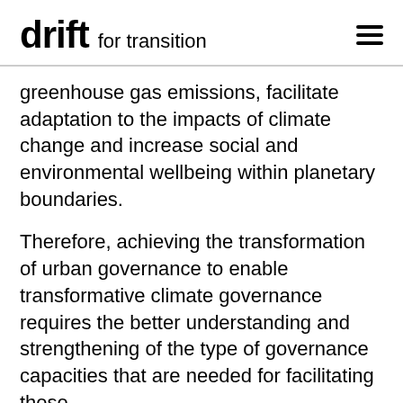drift for transition
greenhouse gas emissions, facilitate adaptation to the impacts of climate change and increase social and environmental wellbeing within planetary boundaries.
Therefore, achieving the transformation of urban governance to enable transformative climate governance requires the better understanding and strengthening of the type of governance capacities that are needed for facilitating these